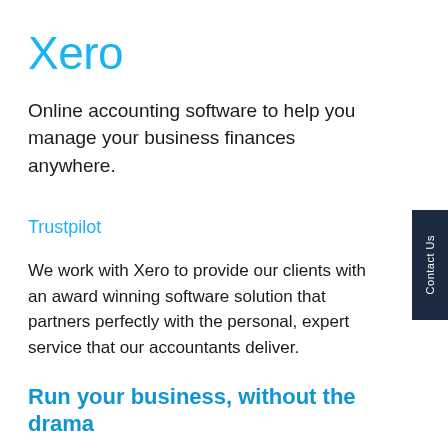Xero
Online accounting software to help you manage your business finances anywhere.
Trustpilot
We work with Xero to provide our clients with an award winning software solution that partners perfectly with the personal, expert service that our accountants deliver.
Run your business, without the drama